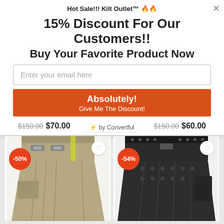Hot Sale!!! Kilt Outlet™ 🔥🔥
15% Discount For Our Customers!!
Buy Your Favorite Product Now
Enter your email here
Absolutely!
Give Me The Discount!
$150.00  $70.00    $150.00  $60.00
⚡ by Convertful
[Figure (photo): Khaki utility kilt with yellow safety stripe and metal buckles, -50% discount badge]
[Figure (photo): Black leather-look kilt with metal studs, -54% discount badge]